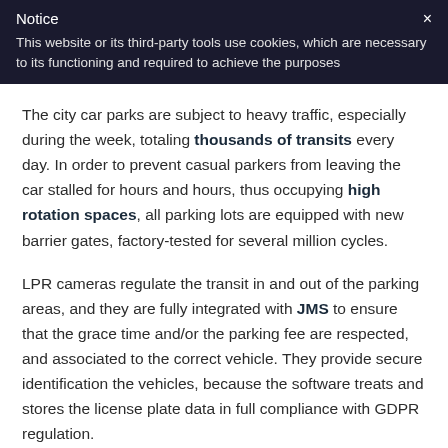Notice
This website or its third-party tools use cookies, which are necessary to its functioning and required to achieve the purposes
The city car parks are subject to heavy traffic, especially during the week, totaling thousands of transits every day. In order to prevent casual parkers from leaving the car stalled for hours and hours, thus occupying high rotation spaces, all parking lots are equipped with new barrier gates, factory-tested for several million cycles.
LPR cameras regulate the transit in and out of the parking areas, and they are fully integrated with JMS to ensure that the grace time and/or the parking fee are respected, and associated to the correct vehicle. They provide secure identification the vehicles, because the software treats and stores the license plate data in full compliance with GDPR regulation.